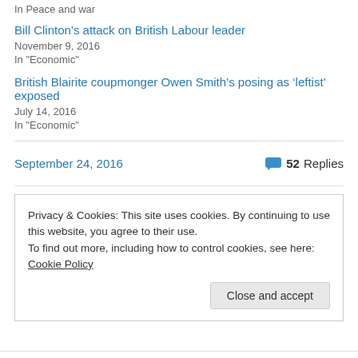In  Peace and war
Bill Clinton's attack on British Labour leader
November 9, 2016
In "Economic"
British Blairite coupmonger Owen Smith's posing as 'leftist' exposed
July 14, 2016
In "Economic"
September 24, 2016
52 Replies
Privacy & Cookies: This site uses cookies. By continuing to use this website, you agree to their use.
To find out more, including how to control cookies, see here: Cookie Policy
Close and accept